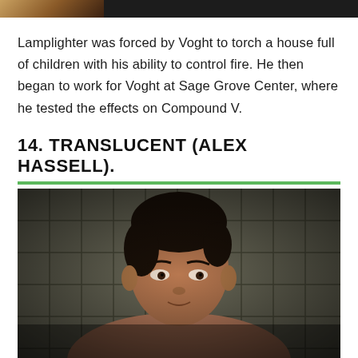[Figure (photo): Partial view of a previous image at top of page — dark toned image strip]
Lamplighter was forced by Voght to torch a house full of children with his ability to control fire. He then began to work for Voght at Sage Grove Center, where he tested the effects on Compound V.
14. TRANSLUCENT (ALEX HASSELL).
[Figure (photo): Photo of Alex Hassell as Translucent — shirtless man with dark hair looking intently at camera, seated in front of a dark tiled bathroom wall]